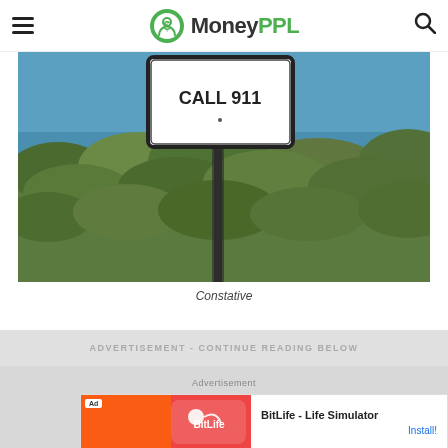MoneyPPL
[Figure (photo): Outdoor photo of a white rectangular 'CALL 911' sign on a dark post, surrounded by dense green shrubbery with blue water visible in the background]
Constative
ADVERTISEMENT - CONTINUE READING BELOW
Advertisement
[Figure (screenshot): Advertisement banner for BitLife - Life Simulator app with colorful ad image on left and Install! button on right]